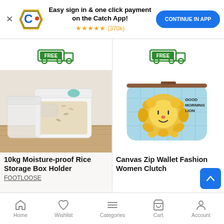[Figure (screenshot): Catch app promotional banner with logo, star rating (370k reviews), and Continue in App button]
[Figure (infographic): Free delivery badge icon (truck with FREE label) in left product cell]
[Figure (infographic): Free delivery badge icon (truck with FREE label) in right product cell]
[Figure (photo): White 10kg moisture-proof rice storage box holder on wooden surface]
10kg Moisture-proof Rice Storage Box Holder
FOOTLOOSE
[Figure (photo): Light blue canvas zip wallet with cartoon lion illustration, text Good Morning Lion]
Canvas Zip Wallet Fashion Women Clutch
[Figure (screenshot): Bottom navigation bar with Home, Wishlist, Categories, Cart, Account icons]